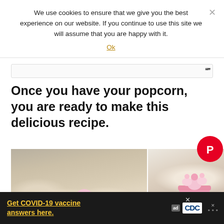We use cookies to ensure that we give you the best experience on our website. If you continue to use this site we will assume that you are happy with it.
Ok
Once you have your popcorn, you are ready to make this delicious recipe.
[Figure (photo): Two photos of popcorn treat: left shows white chocolate covered popcorn with a pink marshmallow on top on a baking tray; right shows popcorn served in a pink cup with pink marshmallows on top, decorated with candy, on a white doily with red heart decorations.]
Get COVID-19 vaccine answers here.